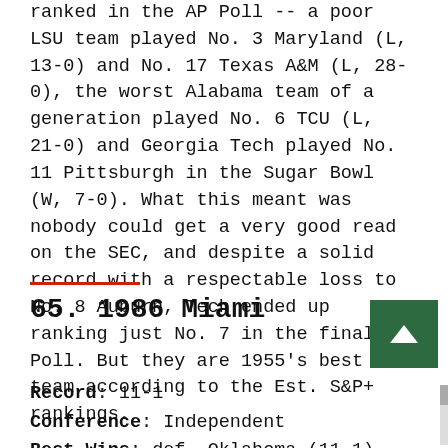ranked in the AP Poll -- a poor LSU team played No. 3 Maryland (L, 13-0) and No. 17 Texas A&M (L, 28-0), the worst Alabama team of a generation played No. 6 TCU (L, 21-0) and Georgia Tech played No. 11 Pittsburgh in the Sugar Bowl (W, 7-0). What this meant was nobody could get a very good read on the SEC, and despite a solid record with a respectable loss to No. 8 Auburn, Tech ended up ranking just No. 7 in the final AP Poll. But they are 1955's best team according to the Est. S&P+ rankings.
65. 1986 Miami
Record: 11-1
Conference: Independent
Best Wins: def. Oklahoma (11-1) 28-16, def. Florida State (7-4-1) 41-23...